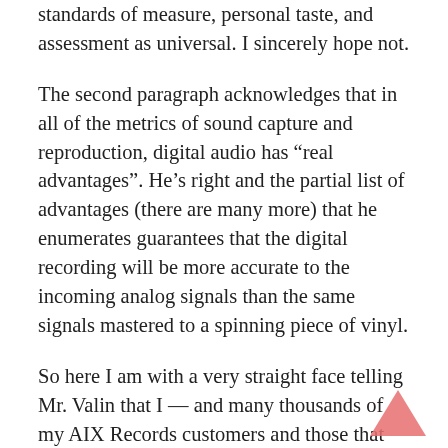standards of measure, personal taste, and assessment as universal. I sincerely hope not.
The second paragraph acknowledges that in all of the metrics of sound capture and reproduction, digital audio has “real advantages”. He’s right and the partial list of advantages (there are many more) that he enumerates guarantees that the digital recording will be more accurate to the incoming analog signals than the same signals mastered to a spinning piece of vinyl.
So here I am with a very straight face telling Mr. Valin that I — and many thousands of my AIX Records customers and those that have heard my demos — prefer the absolute musical mastery, in his words “the breath of musical life” that is captured without equal by a high-resolution PCM recording. Analog has its place in the history and to